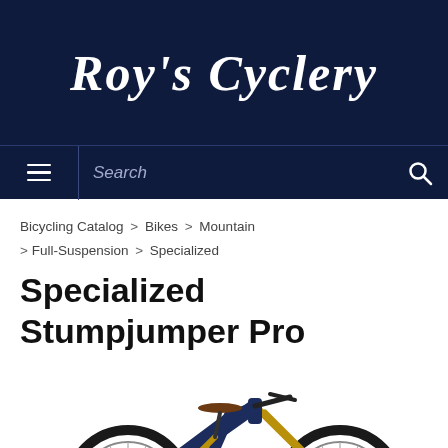Roy's Cyclery
Search
Bicycling Catalog > Bikes > Mountain > Full-Suspension > Specialized
Specialized Stumpjumper Pro
[Figure (photo): Specialized Stumpjumper Pro mountain bike in dark blue, full-suspension, shown in profile view against a white background. Features gold/bronze suspension fork and rear shock, wide knobby tires, and black components.]